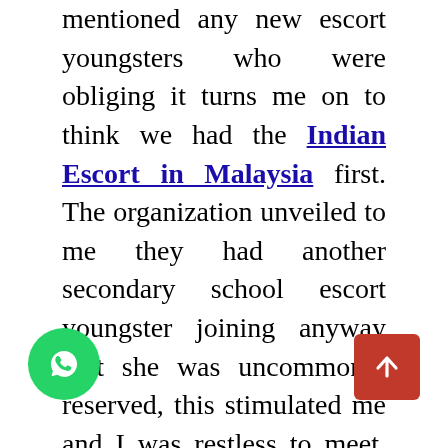mentioned any new escort youngsters who were obliging it turns me on to think we had the Indian Escort in Malaysia first. The organization unveiled to me they had another secondary school escort youngster joining anyway that she was uncommonly reserved, this stimulated me and I was restless to meet, they sorted out some way to put together a social occasion at some point from there on. Exactly when I appeared, she was dressed as referenced in a school youngster outfit and looked so hot I thought I was going to cum there and a short time later. We contributed some energy talking anyway all that I could do was look at her tits, they were balancing her top and I was anxious to feel my dick between them. covered to her she expected to calm now. she laughed so wasn't bothered and I